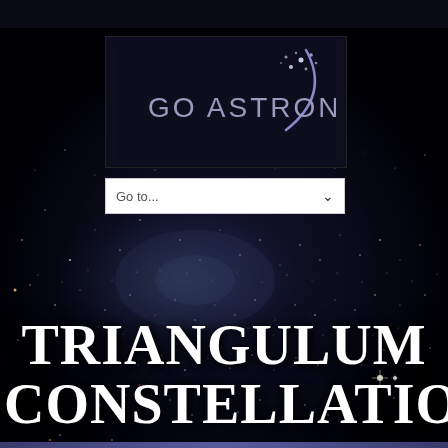[Figure (logo): Go Astronomy logo with text 'GO ASTRONOMY' in grey on dark background with purple crescent moon arc and stars]
Go to...
[Figure (photo): Deep space photograph showing dense star field with Triangulum galaxy, dark background with numerous stars, galaxies and nebulae]
TRIANGULUM CONSTELLATION